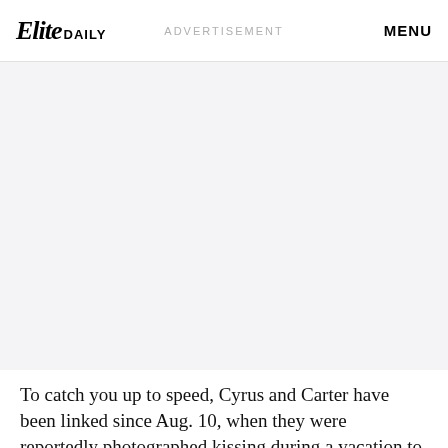Elite DAILY | ADVERTISEMENT | MENU
[Figure (other): Advertisement placeholder area — light gray background]
To catch you up to speed, Cyrus and Carter have been linked since Aug. 10, when they were reportedly photographed kissing during a vacation to Italy — the same day that a rep for Cyrus announced her